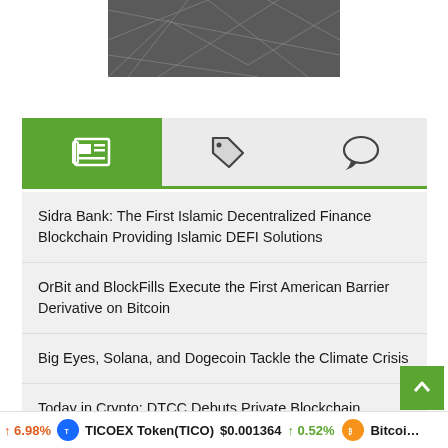[Figure (illustration): Dark gray geometric/polygon pattern hero image at the top of the page]
[Figure (screenshot): Tab bar with news icon (active, green), tag icon, and comment/speech bubble icon]
Sidra Bank: The First Islamic Decentralized Finance Blockchain Providing Islamic DEFI Solutions
OrBit and BlockFills Execute the First American Barrier Derivative on Bitcoin
Big Eyes, Solana, and Dogecoin Tackle the Climate Crisis
Today in Crypto: DTCC Debuts Private Blockchain
Inside the $3B DeFi Exploit of Acala's Crypto Platfor…
↑ 6.98%   TICOEX Token(TICO)  $0.001364  ↑ 0.52%   Bitcoi…